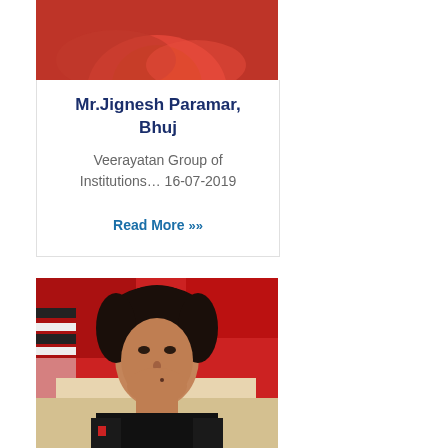[Figure (photo): Top portion of a person wearing a red shirt, cropped at shoulders]
Mr.Jignesh Paramar, Bhuj
Veerayatan Group of Institutions… 16-07-2019
Read More »
[Figure (photo): Selfie photo of a young man with dark hair wearing a black jacket, red patterned furniture visible in background]